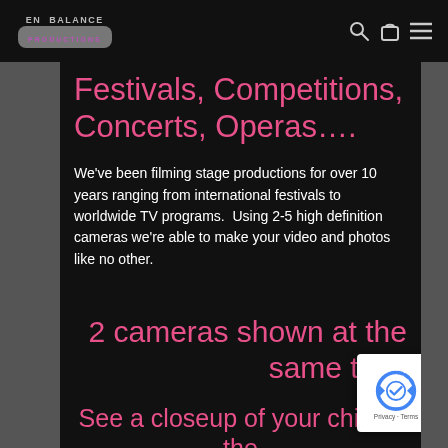EN BALANCE PRODUCTIONS
Festivals, Competitions, Concerts, Operas….
We've been filming stage productions for over 10 years ranging from international festivals to worldwide TV programs.  Using 2-5 high definition cameras we're able to make your video and photos like no other.
2 cameras shown at the same time
See a closeup of your child & the